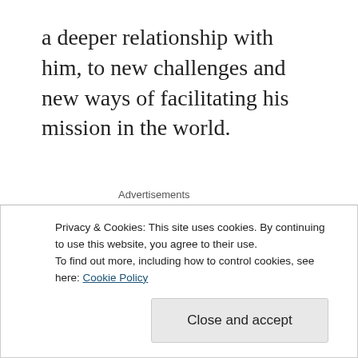a deeper relationship with him, to new challenges and new ways of facilitating his mission in the world.
Advertisements
I decided therefore, that I needed to take the advice Fibre Fairy's offered me on Twitter, and
Privacy & Cookies: This site uses cookies. By continuing to use this website, you agree to their use.
To find out more, including how to control cookies, see here: Cookie Policy
Close and accept